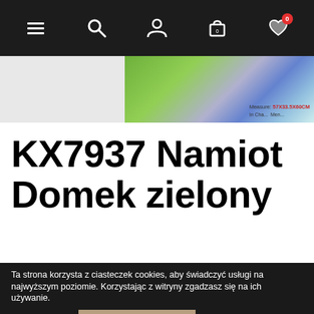[Figure (screenshot): Mobile e-commerce website header with dark navigation bar containing hamburger menu, search, user, cart (0), and wishlist (0) icons, and a product image of a green tent/playhouse with product thumbnail and measure label '57X33.5X60CM']
KX7937 Namiot Domek zielony
Ta strona korzysta z ciasteczek cookies, aby świadczyć usługi na najwyższym poziomie. Korzystając z witryny zgadzasz się na ich używanie.
Czytaj więcej   Zaakceptuj wszystkie